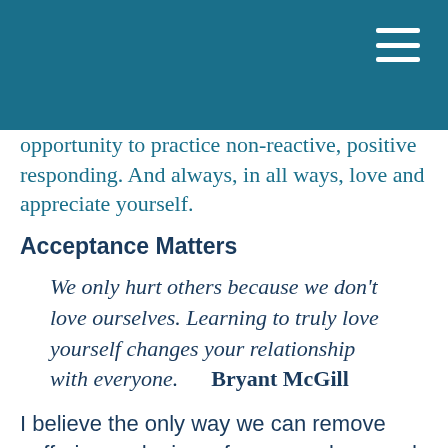opportunity to practice non-reactive, positive responding. And always, in all ways, love and appreciate yourself.
Acceptance Matters
We only hurt others because we don't love ourselves. Learning to truly love yourself changes your relationship with everyone.     Bryant McGill
I believe the only way we can remove suffering and misery from ourselves, and thus the world